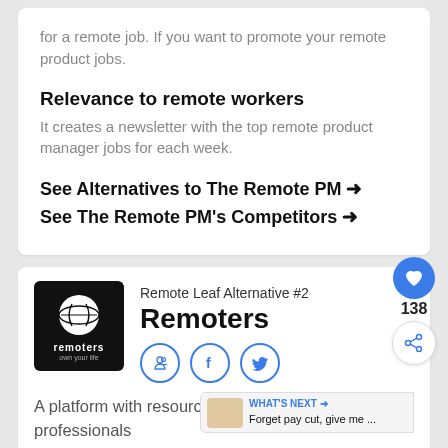for a remote job. If you want to promote your remote product jobs.
Relevance to remote workers
It creates a newsletter with the top remote product manager jobs for each week.
See Alternatives to The Remote PM →
See The Remote PM's Competitors →
Remote Leaf Alternative #2
Remoters
A platform with resources and advice fo... professionals